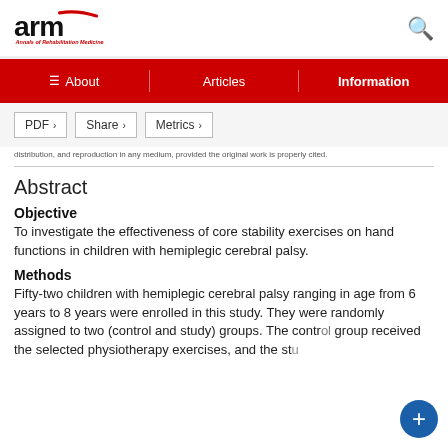arm - Annals of Rehabilitation Medicine
About | Articles | Information
PDF > Share > Metrics >
distribution, and reproduction in any medium, provided the original work is properly cited.
Abstract
Objective
To investigate the effectiveness of core stability exercises on hand functions in children with hemiplegic cerebral palsy.
Methods
Fifty-two children with hemiplegic cerebral palsy ranging in age from 6 years to 8 years were enrolled in this study. They were randomly assigned to two (control and study) groups. The control group received the selected physiotherapy exercises, and the stu...